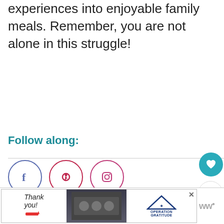experiences into enjoyable family meals. Remember, you are not alone in this struggle!
Follow along:
[Figure (infographic): Three social media icon circles: Facebook (purple/blue), Pinterest (red/pink), Instagram (pink/magenta)]
Join us for 52 Weeks of Sensory!
[Figure (infographic): Blue banner with white bold text '52 WEEKS OF' partially visible]
[Figure (infographic): Advertisement banner: 'Thank you!' with pencil graphic, photo of firefighters, Operation Gratitude logo. Close button top right.]
[Figure (infographic): Floating heart button (teal circle) and share button (white circle) on the right side of the page]
[Figure (infographic): What's Next panel showing food image and text 'Week 40 Sensory...']